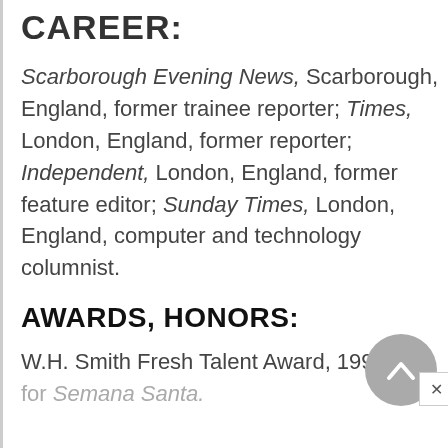CAREER:
Scarborough Evening News, Scarborough, England, former trainee reporter; Times, London, England, former reporter; Independent, London, England, former feature editor; Sunday Times, London, England, computer and technology columnist.
AWARDS, HONORS:
W.H. Smith Fresh Talent Award, 1996, for Semana Santa.